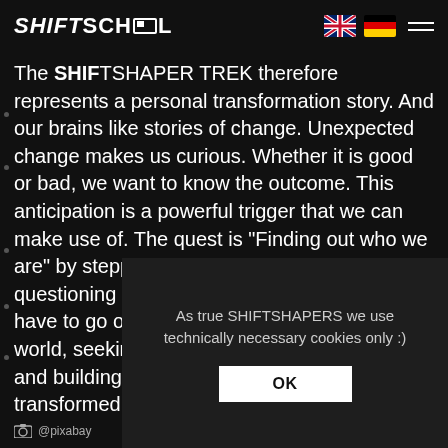SHIFTSCHOOL
The SHIFTSHAPER TREK therefore represents a personal transformation story. And our brains like stories of change. Unexpected change makes us curious. Whether it is good or bad, we want to know the outcome. This anticipation is a powerful trigger that we can make use of. The quest is "Finding out who we are" by stepping out into the wilderness and questioning ourselves. Every Shiftshaper will have to go on the same trek: from the ordinary world, seeking adventures, changing, learning and building new attitudes, transformed.
As true SHIFTSHAPERS we use technically necessary cookies only :)
OK
@pixabay